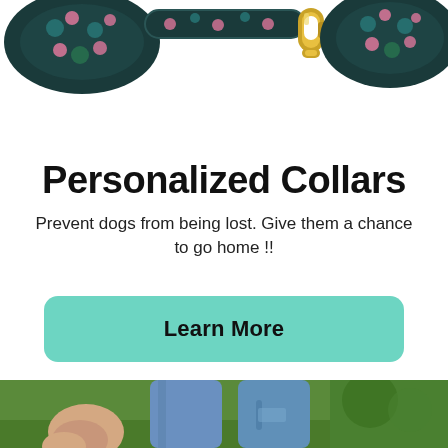[Figure (photo): Top portion of a floral-patterned dog leash with a gold carabiner clip on a white background, showing dark teal/black fabric with pink and green tropical flowers.]
Personalized Collars
Prevent dogs from being lost. Give them a chance to go home !!
Learn More
[Figure (photo): Bottom portion showing a person's legs in blue jeans walking outdoors on green grass, with a hand visible at lower left, suggesting someone walking a dog.]